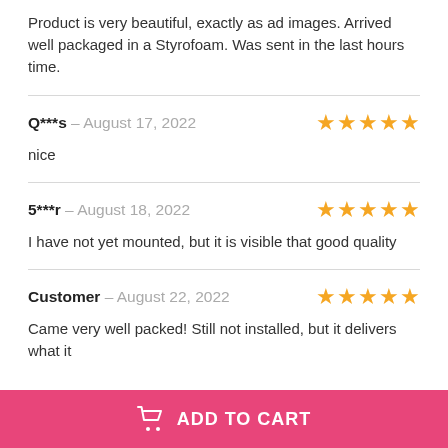Product is very beautiful, exactly as ad images. Arrived well packaged in a Styrofoam. Was sent in the last hours time.
Q***s – August 17, 2022 ★★★★★
nice
5***r – August 18, 2022 ★★★★★
I have not yet mounted, but it is visible that good quality
Customer – August 22, 2022 ★★★★★
Came very well packed! Still not installed, but it delivers what it
ADD TO CART